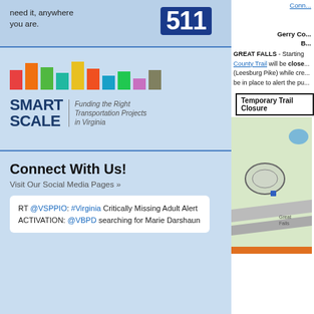need it, anywhere you are.
[Figure (logo): 511 logo - blue box with white 511 text]
[Figure (logo): SMART SCALE logo with colorful bar chart graphic. Tagline: Funding the Right Transportation Projects in Virginia]
Virginia Roads
Your one-stop source for VDOT maps, data and project info.
[Figure (logo): Virginia Roads banner - dark navy with orange wave stripe on left, white bold text VIRGINIA ROADS]
Connect With Us!
Visit Our Social Media Pages »
RT @VSPPIO: #Virginia Critically Missing Adult Alert ACTIVATION: @VBPD searching for Marie Darshaun
Gerry Co...
B...
GREAT FALLS - Starting County Trail will be closed (Leesburg Pike) while cre... be in place to alert the pu...
[Figure (map): Map showing Temporary Trail Closure area near Great Falls with green park area, roads, and a pond]
Temporary Trail Closure